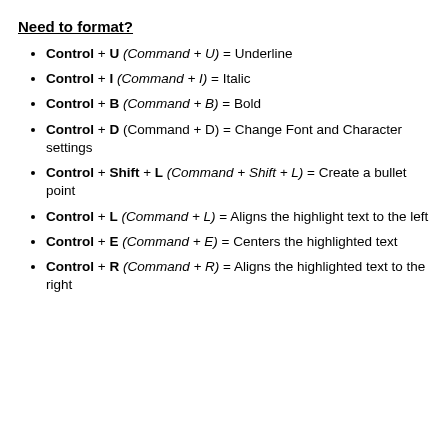Need to format?
Control + U (Command + U) = Underline
Control + I (Command + I) = Italic
Control + B (Command + B) = Bold
Control + D (Command + D) = Change Font and Character settings
Control + Shift + L (Command + Shift + L) = Create a bullet point
Control + L (Command + L) = Aligns the highlight text to the left
Control + E (Command + E) = Centers the highlighted text
Control + R (Command + R) = Aligns the highlighted text to the right